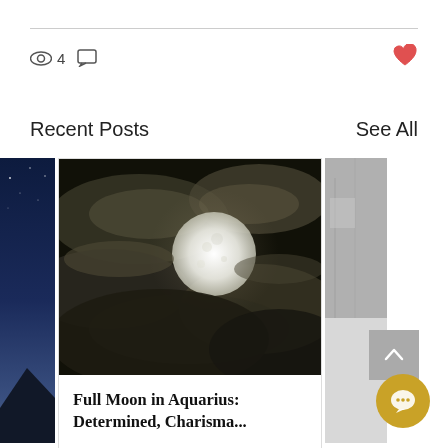[Figure (screenshot): Top stats bar with eye icon showing 4 views, comment icon, and red heart icon on the right]
Recent Posts
See All
[Figure (photo): Three post cards in a horizontal strip. Left card shows night sky. Center card shows full moon through clouds with title 'Full Moon in Aquarius: Determined, Charisma...' and stats: 26 views, 0 comments, 1 like. Right card shows partial grey image. Scroll-up button and chat FAB visible.]
Full Moon in Aquarius: Determined, Charisma...
26  0  1